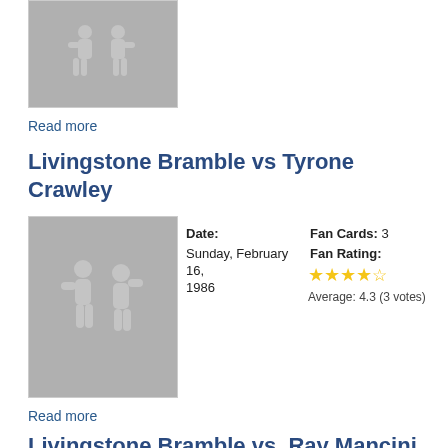[Figure (illustration): Gray boxing silhouette placeholder image (top, partially visible)]
Read more
Livingstone Bramble vs Tyrone Crawley
[Figure (illustration): Gray boxing silhouette placeholder image for Livingstone Bramble vs Tyrone Crawley]
Date: Sunday, February 16, 1986
Fan Cards: 3
Fan Rating: Average: 4.3 (3 votes)
Read more
Livingstone Bramble vs. Ray Mancini